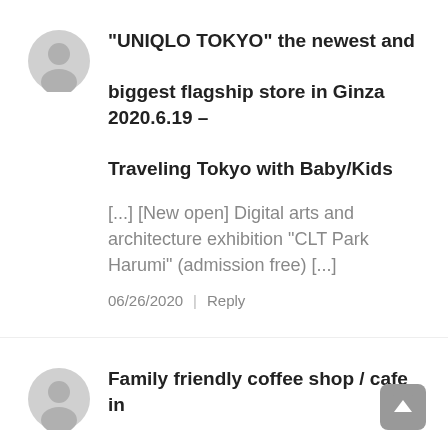“UNIQLO TOKYO” the newest and biggest flagship store in Ginza 2020.6.19 – Traveling Tokyo with Baby/Kids
[...] [New open] Digital arts and architecture exhibition “CLT Park Harumi” (admission free) [...]
06/26/2020 | Reply
Family friendly coffee shop / cafe in Tsukiji – Traveling Tokyo with Baby/Kids